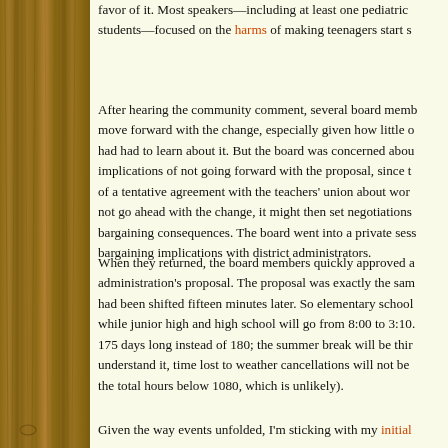favor of it. Most speakers—including at least one pediatric... students—focused on the harms of making teenagers start s...
After hearing the community comment, several board memb... move forward with the change, especially given how little o... had had to learn about it. But the board was concerned abou... implications of not going forward with the proposal, since t... of a tentative agreement with the teachers' union about wor... not go ahead with the change, it might then set negotiations... bargaining consequences. The board went into a private sess... bargaining implications with district administrators.
When they returned, the board members quickly approved a... administration's proposal. The proposal was exactly the sam... had been shifted fifteen minutes later. So elementary school... while junior high and high school will go from 8:00 to 3:10.... 175 days long instead of 180; the summer break will be thir... understand it, time lost to weather cancellations will not be... the total hours below 1080, which is unlikely).
Given the way events unfolded, I'm sticking with my initial...